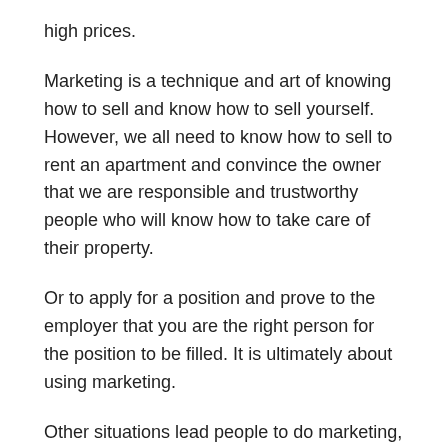high prices.
Marketing is a technique and art of knowing how to sell and know how to sell yourself. However, we all need to know how to sell to rent an apartment and convince the owner that we are responsible and trustworthy people who will know how to take care of their property.
Or to apply for a position and prove to the employer that you are the right person for the position to be filled. It is ultimately about using marketing.
Other situations lead people to do marketing, such as connecting with the young lady of their choice.
You have to convince her by showing herself on her best day and convince her that she will benefit from taking an interest in you. Therefore we all practice marketing daily.